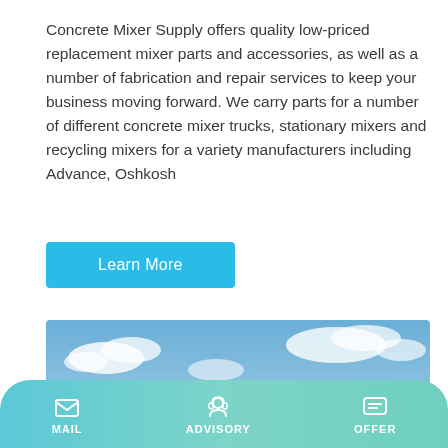Concrete Mixer Supply offers quality low-priced replacement mixer parts and accessories, as well as a number of fabrication and repair services to keep your business moving forward. We carry parts for a number of different concrete mixer trucks, stationary mixers and recycling mixers for a variety manufacturers including Advance, Oshkosh
Learn More
[Figure (photo): Industrial concrete mixing plant with tall blue and white cylindrical silo tower, supporting metal structures, and conveyor belt against a partly cloudy blue sky.]
MAIL | ADVISORY | OFFER